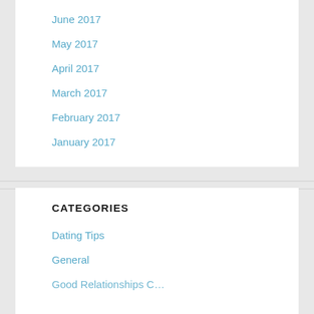June 2017
May 2017
April 2017
March 2017
February 2017
January 2017
CATEGORIES
Dating Tips
General
Good Relationships C…